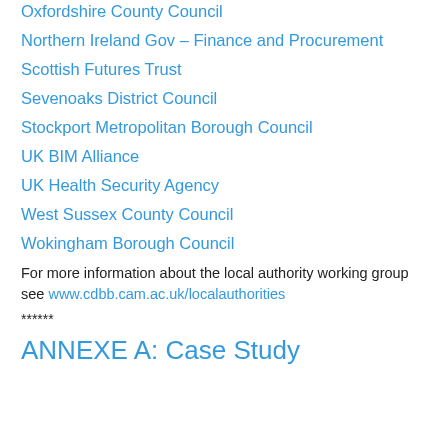Oxfordshire County Council
Northern Ireland Gov – Finance and Procurement
Scottish Futures Trust
Sevenoaks District Council
Stockport Metropolitan Borough Council
UK BIM Alliance
UK Health Security Agency
West Sussex County Council
Wokingham Borough Council
For more information about the local authority working group see www.cdbb.cam.ac.uk/localauthorities
******
ANNEXE A: Case Study